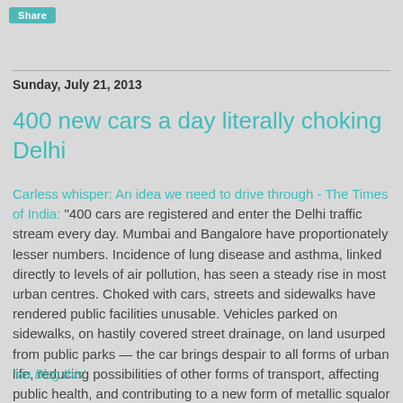Share
Sunday, July 21, 2013
400 new cars a day literally choking Delhi
Carless whisper: An idea we need to drive through - The Times of India: "400 cars are registered and enter the Delhi traffic stream every day. Mumbai and Bangalore have proportionately lesser numbers. Incidence of lung disease and asthma, linked directly to levels of air pollution, has seen a steady rise in most urban centres. Choked with cars, streets and sidewalks have rendered public facilities unusable. Vehicles parked on sidewalks, on hastily covered street drainage, on land usurped from public parks — the car brings despair to all forms of urban life, reducing possibilities of other forms of transport, affecting public health, and contributing to a new form of metallic squalor in the city. "
'via Blog this'